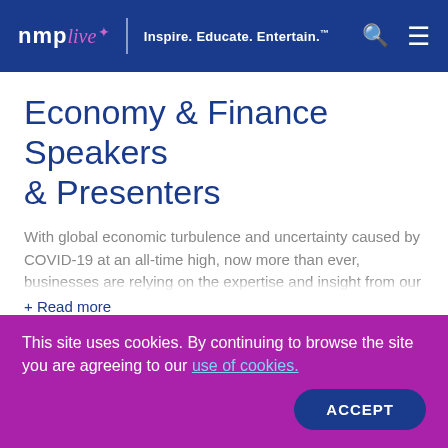nmp live — Inspire. Educate. Entertain.
Economy & Finance Speakers & Presenters
With global economic turbulence and uncertainty caused by COVID-19 at an all-time high, now more than ever, businesses are relying on the expertise and insight from our
+ Read more
+ FILTER (0)
Sort By
93 results found
This site uses cookies. By continuing to browse the site you are agreeing to our use of cookies.
ACCEPT